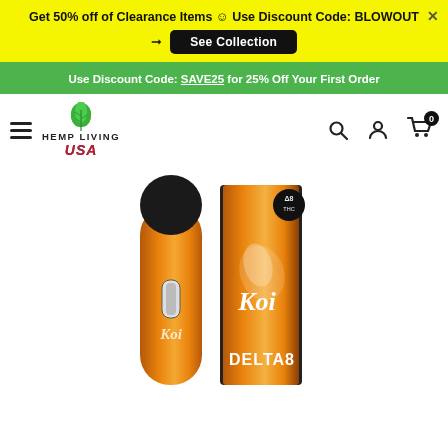Get 50% off of Clearance Items ☺ Use Discount Code: BLOWOUT → See Collection
Use Discount Code: SAVE25 for 25% Off Your First Order
[Figure (logo): Hemp Living USA logo with green cannabis leaf, text HEMP LIVING in bold and USA in stylized patriotic lettering]
[Figure (photo): Koi Delta 8 THC disposable vape bar — gold/orange metallic device on left and its matching gold/orange retail box on right, both branded with Koi logo (white koi fish) and DELTA8 text]